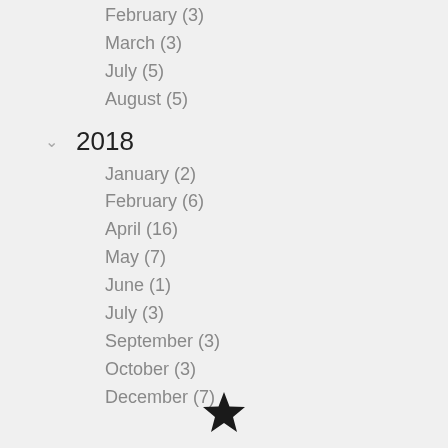February (3)
March (3)
July (5)
August (5)
2018
January (2)
February (6)
April (16)
May (7)
June (1)
July (3)
September (3)
October (3)
December (7)
[Figure (illustration): Black star icon at the bottom center of the page]